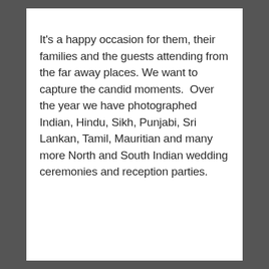It's a happy occasion for them, their families and the guests attending from the far away places. We want to capture the candid moments.  Over the year we have photographed Indian, Hindu, Sikh, Punjabi, Sri Lankan, Tamil, Mauritian and many more North and South Indian wedding ceremonies and reception parties.